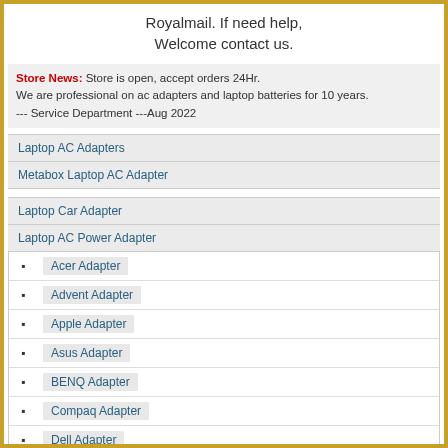Royalmail. If need help, Welcome contact us.
Store News: Store is open, accept orders 24Hr.
We are professional on ac adapters and laptop batteries for 10 years.
--- Service Department ---Aug 2022
Laptop AC Adapters
Metabox Laptop AC Adapter
Laptop Car Adapter
Laptop AC Power Adapter
Acer Adapter
Advent Adapter
Apple Adapter
Asus Adapter
BENQ Adapter
Compaq Adapter
Dell Adapter
Delta Adapter